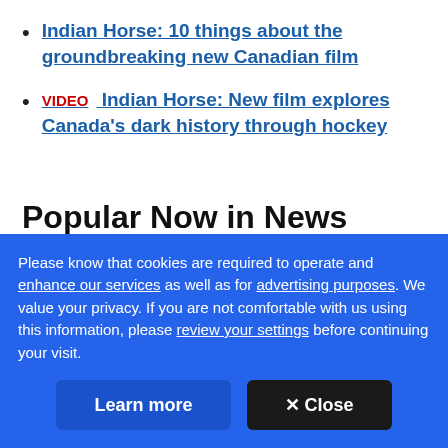Indian Horse: 10 things about the groundbreaking new Canadian film
VIDEO   Indian Horse: New film explores Canada's dark history through hockey
Popular Now in News
1
Please know that cookies are required to operate and enhance our services as well as for advertising purposes. We value your privacy. If you are not comfortable with us using this information, please review your settings before continuing your visit.